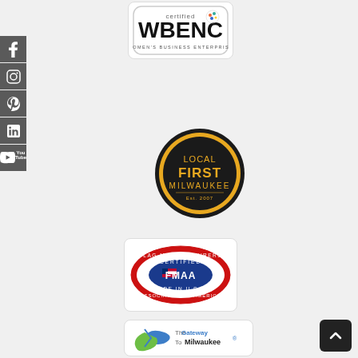[Figure (logo): Certified WBENC Women's Business Enterprise logo — rounded rectangle border with 'certified WBENC' text and colorful dots icon]
[Figure (logo): Local First Milwaukee badge — circular gold/dark badge with 'LOCAL FIRST MILWAUKEE' text]
[Figure (logo): Flag Manufacturers Association of America — FMAA Certified Made in U.S.A. oval red/white badge]
[Figure (logo): The Gateway To Milwaukee logo — blue/green globe arrow graphic with text]
[Figure (logo): Social media sidebar icons: Facebook, Instagram, Pinterest, LinkedIn, YouTube]